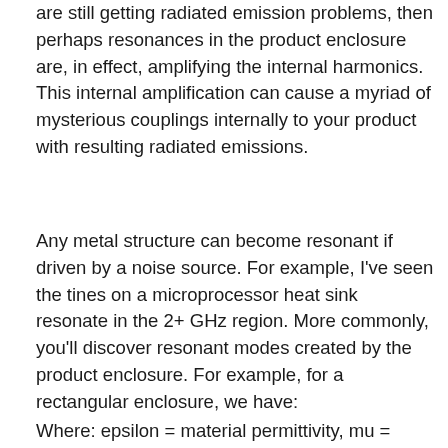are still getting radiated emission problems, then perhaps resonances in the product enclosure are, in effect, amplifying the internal harmonics. This internal amplification can cause a myriad of mysterious couplings internally to your product with resulting radiated emissions.
Any metal structure can become resonant if driven by a noise source. For example, I've seen the tines on a microprocessor heat sink resonate in the 2+ GHz region. More commonly, you'll discover resonant modes created by the product enclosure. For example, for a rectangular enclosure, we have:
Where: epsilon = material permittivity, mu = material